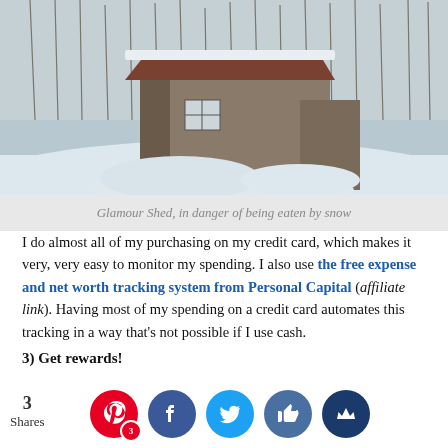[Figure (photo): An old weathered wooden shed/barn partially buried in snow, surrounded by bare winter trees in the background.]
Glamour Shed, in danger of being eaten by snow
I do almost all of my purchasing on my credit card, which makes it very, very easy to monitor my spending. I also use the free expense and net worth tracking system from Personal Capital (affiliate link). Having most of my spending on a credit card automates this tracking in a way that's not possible if I use cash.
3) Get rewards!
Credit card companies reward customers who use their cards responsibly and it is a glorious thing. The two most common types of rewards are:
1. Cash ba...